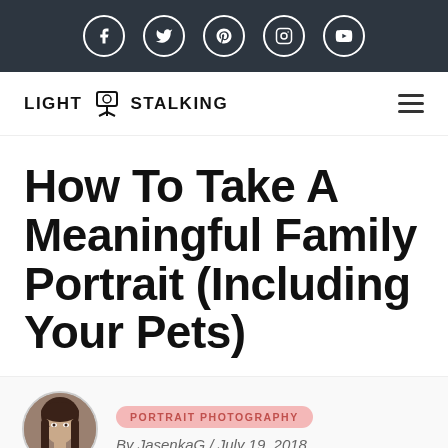[Figure (other): Dark top navigation bar with social media icons: Facebook, Twitter, Pinterest, Instagram, YouTube]
[Figure (logo): Light Stalking logo with camera on tripod icon and hamburger menu on the right]
How To Take A Meaningful Family Portrait (Including Your Pets)
[Figure (photo): Circular author avatar photo of JasenkaG, a woman with dark hair]
PORTRAIT PHOTOGRAPHY
By JasenkaG / July 19, 2018